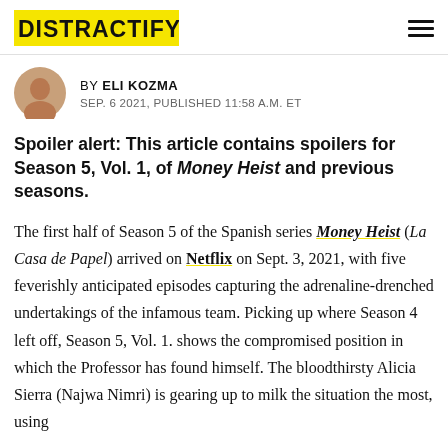DISTRACTIFY
BY ELI KOZMA
SEP. 6 2021, PUBLISHED 11:58 A.M. ET
Spoiler alert: This article contains spoilers for Season 5, Vol. 1, of Money Heist and previous seasons.
The first half of Season 5 of the Spanish series Money Heist (La Casa de Papel) arrived on Netflix on Sept. 3, 2021, with five feverishly anticipated episodes capturing the adrenaline-drenched undertakings of the infamous team. Picking up where Season 4 left off, Season 5, Vol. 1. shows the compromised position in which the Professor has found himself. The bloodthirsty Alicia Sierra (Najwa Nimri) is gearing up to milk the situation the most, using